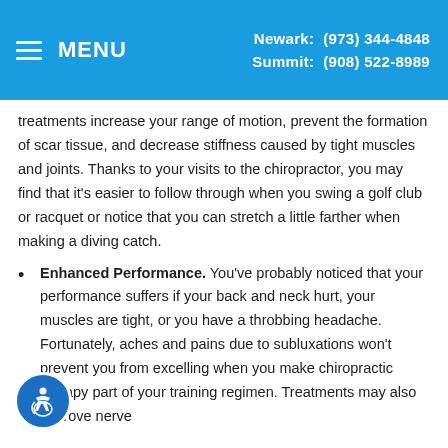MENU | Newark: (973) 344-4848 | Summit: (908) 522-8989
treatments increase your range of motion, prevent the formation of scar tissue, and decrease stiffness caused by tight muscles and joints. Thanks to your visits to the chiropractor, you may find that it's easier to follow through when you swing a golf club or racquet or notice that you can stretch a little farther when making a diving catch.
Enhanced Performance. You've probably noticed that your performance suffers if your back and neck hurt, your muscles are tight, or you have a throbbing headache. Fortunately, aches and pains due to subluxations won't prevent you from excelling when you make chiropractic therapy part of your training regimen. Treatments may also improve nerve